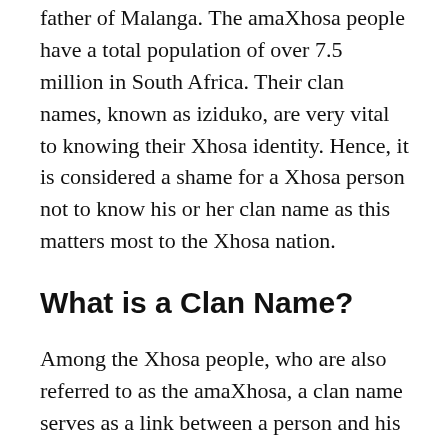father of Malanga. The amaXhosa people have a total population of over 7.5 million in South Africa. Their clan names, known as iziduko, are very vital to knowing their Xhosa identity. Hence, it is considered a shame for a Xhosa person not to know his or her clan name as this matters most to the Xhosa nation.
What is a Clan Name?
Among the Xhosa people, who are also referred to as the amaXhosa, a clan name serves as a link between a person and his or her identity within the Xhosa kingdom. Thus, clan names are one of the most important forms of identity among the amaXhosa. Just like Scotland's clan system, Xhosa people can use their clan names to trace their family